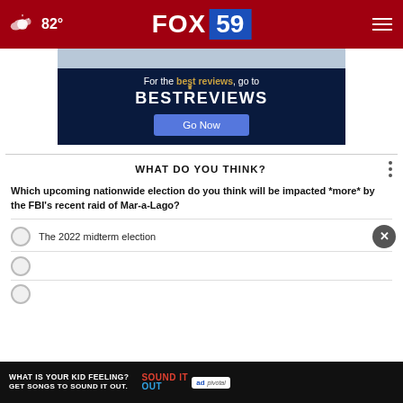82° FOX 59
[Figure (screenshot): BestReviews advertisement banner with dark navy background. Text reads: 'For the best reviews, go to BESTREVIEWS' with a blue 'Go Now' button.]
WHAT DO YOU THINK?
Which upcoming nationwide election do you think will be impacted *more* by the FBI's recent raid of Mar-a-Lago?
The 2022 midterm election
(partially visible second option)
(partially visible third option)
[Figure (screenshot): Ad Council advertisement: 'WHAT IS YOUR KID FEELING? GET SONGS TO SOUND IT OUT.' with colorful SOUND IT OUT logo, ad council logo, and pivotal branding.]